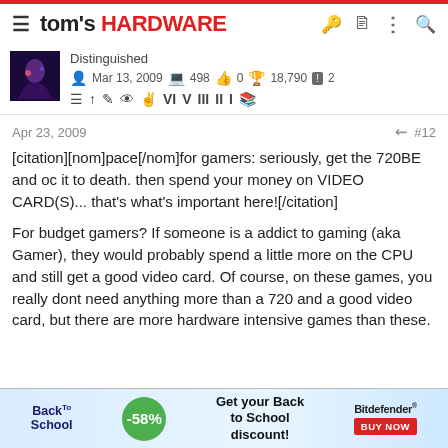tom's HARDWARE
Distinguished
Mar 13, 2009   498   0   18,790   2
Apr 23, 2009   #12
[citation][nom]pace[/nom]for gamers: seriously, get the 720BE and oc it to death. then spend your money on VIDEO CARD(S)... that's what's important here![/citation]
For budget gamers? If someone is a addict to gaming (aka Gamer), they would probably spend a little more on the CPU and still get a good video card. Of course, on these games, you really dont need anything more than a 720 and a good video card, but there are more hardware intensive games than these.
[Figure (infographic): Back to School advertisement banner for Bitdefender with -58% discount offer and BUY NOW button]